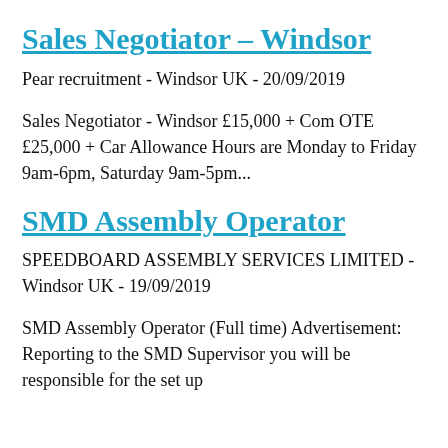Sales Negotiator – Windsor
Pear recruitment - Windsor UK - 20/09/2019
Sales Negotiator - Windsor £15,000 + Com OTE £25,000 + Car Allowance Hours are Monday to Friday 9am-6pm, Saturday 9am-5pm...
SMD Assembly Operator
SPEEDBOARD ASSEMBLY SERVICES LIMITED - Windsor UK - 19/09/2019
SMD Assembly Operator (Full time) Advertisement: Reporting to the SMD Supervisor you will be responsible for the set up...